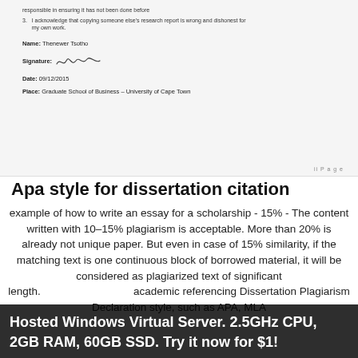responsible for ensuring it has not been done before
I acknowledge that copying someone else's research report is wrong and dishonest for my own work.
Name: Thenewer Tsotho
Signature: [signature]
Date: 09/12/2015
Place: Graduate School of Business – University of Cape Town
ii P a g e
Apa style for dissertation citation
example of how to write an essay for a scholarship - 15% - The content written with 10–15% plagiarism is acceptable. More than 20% is already not unique paper. But even in case of 15% similarity, if the matching text is one continuous block of borrowed material, it will be considered as plagiarized text of significant length. academic referencing Dissertation Plagiarism Declaration style, such as APA, MLA
Hosted Windows Virtual Server. 2.5GHz CPU, 2GB RAM, 60GB SSD. Try it now for $1!